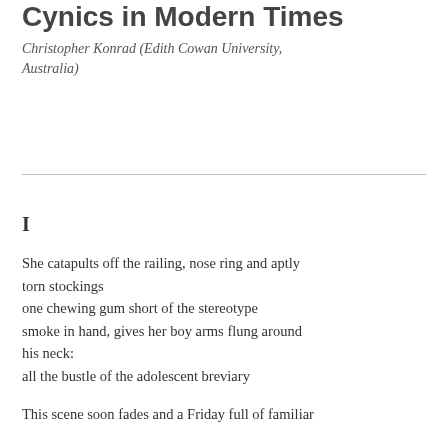Cynics in Modern Times
Christopher Konrad (Edith Cowan University, Australia)
I
She catapults off the railing, nose ring and aptly torn stockings
one chewing gum short of the stereotype
smoke in hand, gives her boy arms flung around his neck:
all the bustle of the adolescent breviary
This scene soon fades and a Friday full of familiar